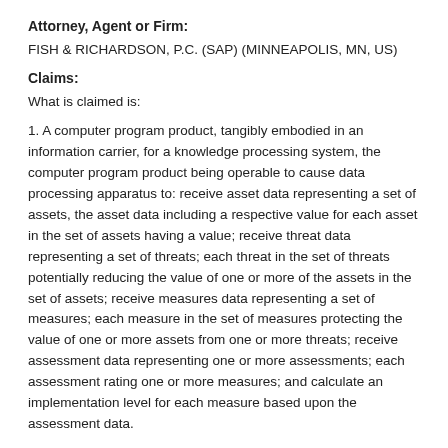Attorney, Agent or Firm:
FISH & RICHARDSON, P.C. (SAP) (MINNEAPOLIS, MN, US)
Claims:
What is claimed is:
1. A computer program product, tangibly embodied in an information carrier, for a knowledge processing system, the computer program product being operable to cause data processing apparatus to: receive asset data representing a set of assets, the asset data including a respective value for each asset in the set of assets having a value; receive threat data representing a set of threats; each threat in the set of threats potentially reducing the value of one or more of the assets in the set of assets; receive measures data representing a set of measures; each measure in the set of measures protecting the value of one or more assets from one or more threats; receive assessment data representing one or more assessments; each assessment rating one or more measures; and calculate an implementation level for each measure based upon the assessment data.
2. The computer program product of claim 1, the computer program product being further operable to cause data processing apparatus to: calculate a potential reduction of risk of one or more assets due to the implementation